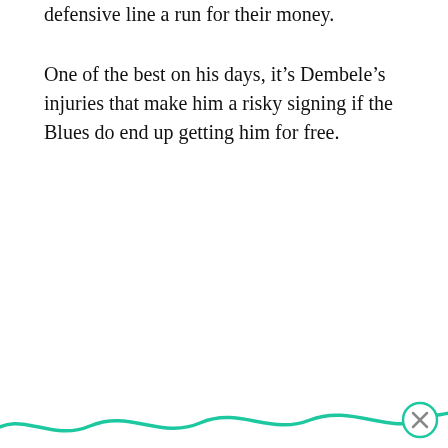defensive line a run for their money.
One of the best on his days, it’s Dembele’s injuries that make him a risky signing if the Blues do end up getting him for free.
[Figure (illustration): Teal/green wavy decorative line across the bottom of the page with a circular close button (X) on the right side]